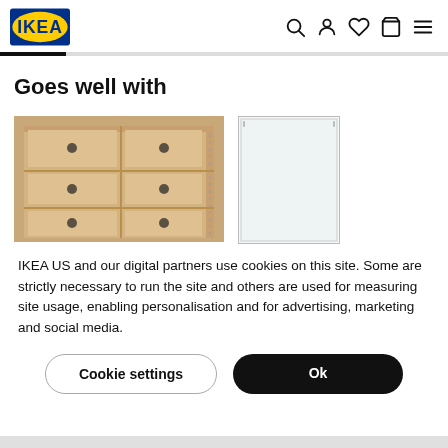IKEA header with logo and navigation icons
Goes well with
[Figure (photo): Wooden chest of drawers with 6 drawers (IKEA product)]
[Figure (photo): White/light mirror panel (IKEA product)]
IKEA US and our digital partners use cookies on this site. Some are strictly necessary to run the site and others are used for measuring site usage, enabling personalisation and for advertising, marketing and social media.
Cookie settings
Ok